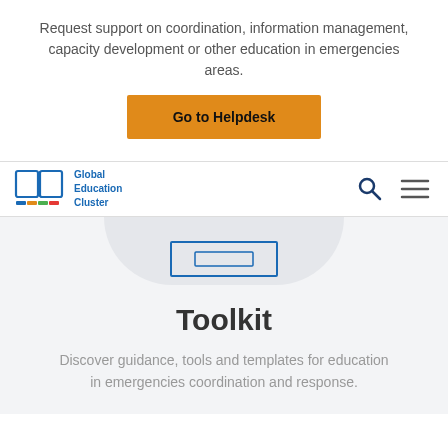Request support on coordination, information management, capacity development or other education in emergencies areas.
Go to Helpdesk
[Figure (logo): Global Education Cluster logo with open book icon and colored bar]
[Figure (screenshot): Navigation bar with search icon and hamburger menu]
Toolkit
Discover guidance, tools and templates for education in emergencies coordination and response.